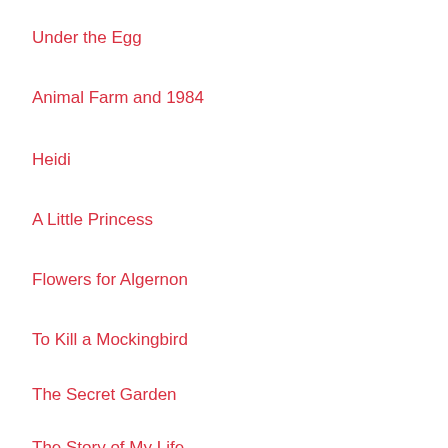Under the Egg
Animal Farm and 1984
Heidi
A Little Princess
Flowers for Algernon
To Kill a Mockingbird
The Secret Garden
The Story of My Life